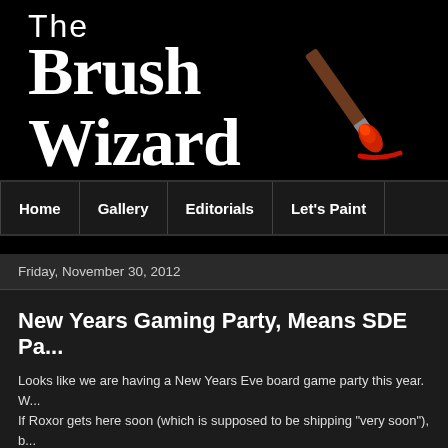[Figure (logo): The Brush Wizard logo — white stylized text on black background with a paintbrush illustration (brown handle, red tip) and a red paint stroke]
Home | Gallery | Editorials | Let's Paint
Friday, November 30, 2012
New Years Gaming Party, Means SDE Pa...
Looks like we are having a New Years Eve board game party this year. W... If Roxor gets here soon (which is supposed to be shipping "very soon"), b...
But today has consisted of cleaning the house. My arcade project cause... Once the cleaning is done, I'll be setting the paint table up again and will...
All that needs to be done for the base set are a few details on Starfire an... to paint them like lizardmen in greens, but Roxor comes with turtles...